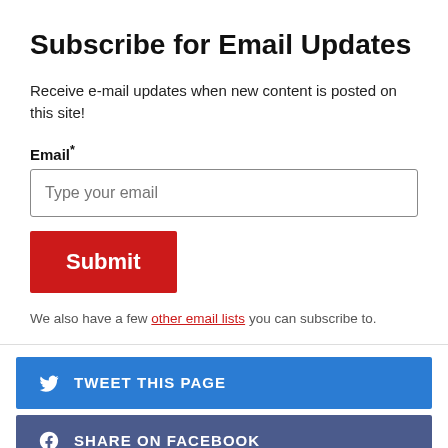Subscribe for Email Updates
Receive e-mail updates when new content is posted on this site!
Email*
Type your email
Submit
We also have a few other email lists you can subscribe to.
TWEET THIS PAGE
SHARE ON FACEBOOK